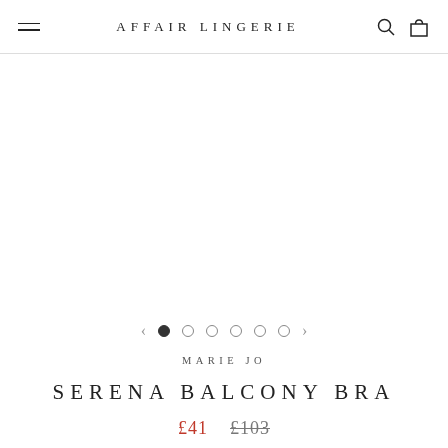AFFAIR LINGERIE
[Figure (other): Product image area (white/blank image placeholder for Serena Balcony Bra)]
MARIE JO
SERENA BALCONY BRA
£41  £103